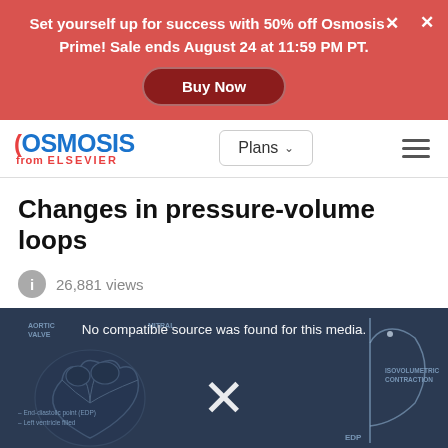Set yourself up for success with 50% off Osmosis Prime! Sale ends August 24 at 11:59 PM PT.
Buy Now
[Figure (logo): Osmosis from Elsevier logo with navigation bar including Plans dropdown and hamburger menu]
Changes in pressure-volume loops
26,881 views
[Figure (screenshot): Medical education video thumbnail showing a cardiac pressure-volume loop diagram with heart anatomy on dark blue background. Shows labels: Aortic Valve, Mitral Valve, Isovolumetric Contraction, End-diastolic point (EDP), Left ventricle filled, EDP. Overlay text: No compatible source was found for this media.]